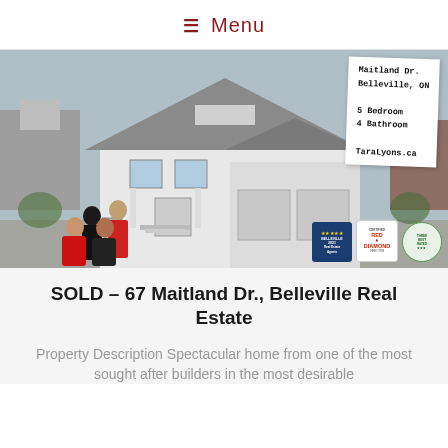≡ Menu
[Figure (photo): Aerial/drone photo of a large white two-story house at 67 Maitland Dr., Belleville, ON. Four real estate agents stand in front. An info card overlay shows: Maitland Dr. Belleville, ON / 5 Bedroom / 4 Bathroom / TaraLyons.ca. Award badges visible bottom right: Belleville 2021 Real Estate Agents, Red Diamond, Three Best Rated.]
SOLD – 67 Maitland Dr., Belleville Real Estate
Property Description Spectacular home from one of the most sought after builders in the most desirable